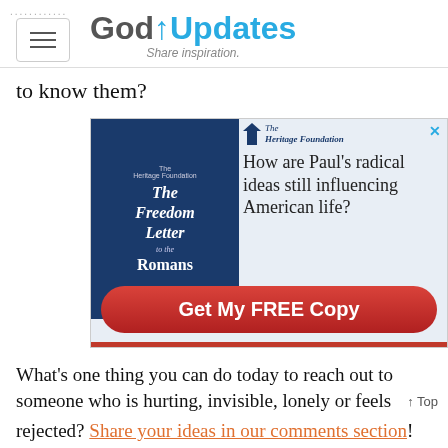GodUpdates — Share inspiration.
to know them?
[Figure (infographic): Advertisement for The Heritage Foundation book 'The Freedom Letter to the Romans' featuring the question 'How are Paul's radical ideas still influencing American life?' with a red 'Get My FREE Copy' button.]
What's one thing you can do today to reach out to someone who is hurting, invisible, lonely or feels rejected? Share your ideas in our comments section!